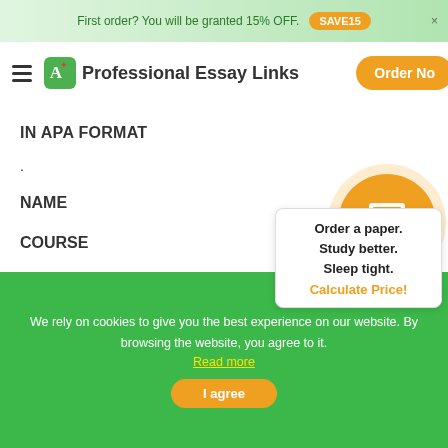First order? You will be granted 15% OFF. SAVE15 ×
Professional Essay Links  Order Now
IN APA FORMAT
.
NAME
COURSE
DATE ◆PROFESSOR
LONG TERM CARE HOUSING OPTIONS
Order a paper. Study better. Sleep tight. Calculate Price!
We rely on cookies to give you the best experience on our website. By browsing the website, you agree to it. Read more
I agree